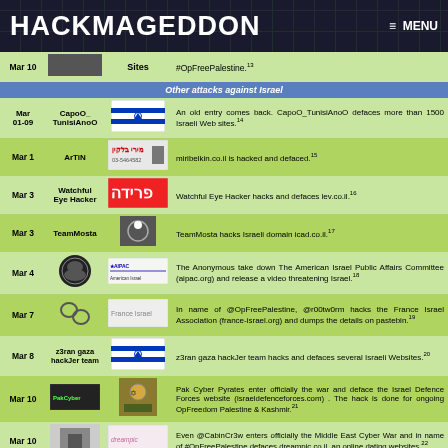HACKMAGEDDON   ≡ MENU
| Date | Actor | Target | Description |
| --- | --- | --- | --- |
| Mar 10 |  | Sites | #OpFreePalestine.¹³ |
|  |  | Other attacks against Israel |  |
| Mar 01-09 | CapoO_TunisiAnoO | [Israel flag] | An old entry comes back. CapoO_TunisiAnoO defaces more than 1500 Israeli Web sites.¹⁴ |
| Mar 1 | ArTiN | [miribelkin logo] | miribelkin.co.il is hacked and defaced.¹⁵ |
| Mar 3 | Watchful Eye Hacker | [frida logo] | Watchful Eye Hacker hacks and defaces lev.co.il.¹⁶ |
| Mar 3 | TeamMosta | [icad logo] | TeamMosta hacks Israeli domain icad.co.il.¹⁷ |
| Mar 4 | [anon] | [AIPAC logo] | The Anonymous take down The American Israel Public Affairs Committee (aipac.org) and release a video threatening Israel.¹⁸ |
| Mar 7 | [r00tw0rm] | [france israel] | In name of @OpFreePalestine, @r00tw0rm hacks the France Israel Association (france-israel.org) and dumps the details on pastebin.¹⁹ |
| Mar 8 | z3ran gaza hackJer team | [Israel flag] | z3ran gaza hackJer team hacks and defaces several Israeli Websites.²⁰ |
| Mar 10 | [PakCyberPyrates] | [IDF logo] | Pak Cyber Pyrates enter officially the war and deface the Israel Defence Forces website (israeldefenceforces.com) . The hack is done for ongoing OpFreedom Palestine & Kashmir.²¹ |
| Mar 10 | [pic] | [dreampic logo] | Even @CabinCr3w enters officially the Middle East Cyber War and in name of #OpFreePalestine defaces dreampic.co.il, an online dating websites.²² |
| Mar 11 | [anon] | [Reefshop logo] | Another defacement in name of #OpFreePalestine. HakerI Crkvina (Anonymous Crkvina) defaces reefshop.co.il, an online store for aquariums.²³ |
|  |  | Meanwhile Iran establishes Supreme Cyberspace Council |  |